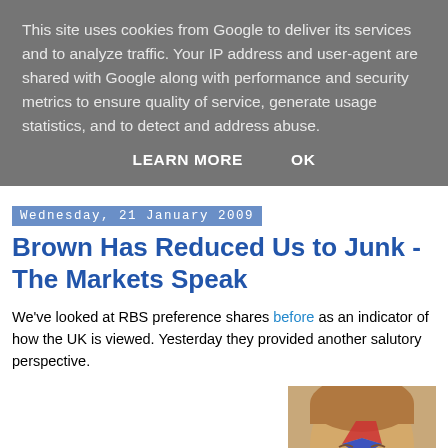This site uses cookies from Google to deliver its services and to analyze traffic. Your IP address and user-agent are shared with Google along with performance and security metrics to ensure quality of service, generate usage statistics, and to detect and address abuse.
LEARN MORE    OK
Wednesday, 21 January 2009
Brown Has Reduced Us to Junk - The Markets Speak
We've looked at RBS preference shares before as an indicator of how the UK is viewed. Yesterday they provided another salutory perspective.
On Monday, the Government effectively took over RBS, swapping the 12% prefs it took in October for ordinary shares. It's UK plc that stands behind RBS obligations now, and nothing else. RBS ordinary shares tanked, of course, but it was a holiday in the USA, so no trading there.
[Figure (photo): Photo of a man with a drawing on his forehead]